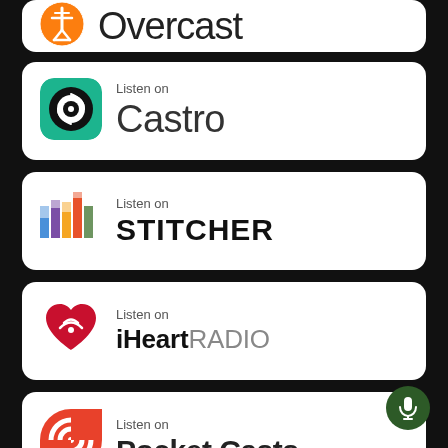[Figure (logo): Overcast podcast app badge - partially visible at top]
[Figure (logo): Castro podcast app badge with Listen on Castro text]
[Figure (logo): Stitcher podcast app badge with Listen on STITCHER text]
[Figure (logo): iHeartRADIO podcast app badge with Listen on iHeartRADIO text]
[Figure (logo): Pocket Casts podcast app badge with Listen on Pocket Casts text, partially visible]